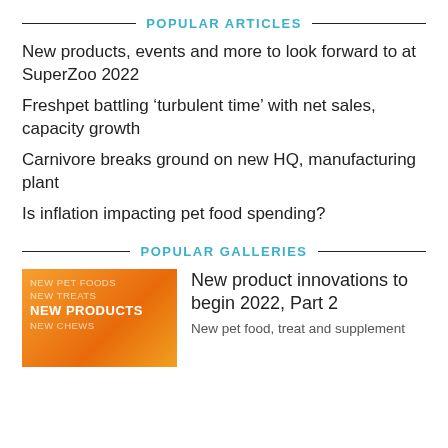POPULAR ARTICLES
New products, events and more to look forward to at SuperZoo 2022
Freshpet battling ‘turbulent time’ with net sales, capacity growth
Carnivore breaks ground on new HQ, manufacturing plant
Is inflation impacting pet food spending?
POPULAR GALLERIES
[Figure (illustration): Orange gradient thumbnail with text: NEW PET FOODS, NEW TREATS, NEW PRODUCTS, NEW CHEWS]
New product innovations to begin 2022, Part 2
New pet food, treat and supplement